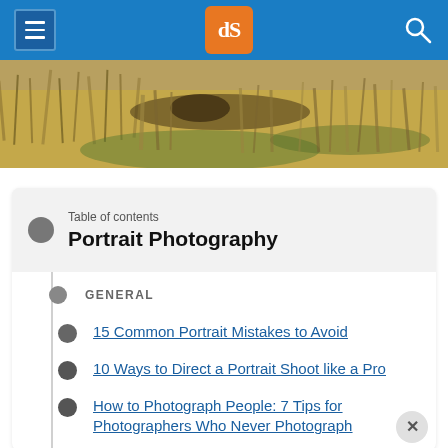[Figure (screenshot): Website navigation bar with hamburger menu button on left, dPS logo (orange box with white 'dS' letters) in center, and search icon on right, all on blue background]
[Figure (photo): Hero photo of a person lying in a field of tall golden grass, photographed from above]
Table of contents
Portrait Photography
GENERAL
15 Common Portrait Mistakes to Avoid
10 Ways to Direct a Portrait Shoot like a Pro
How to Photograph People: 7 Tips for Photographers Who Never Photograph